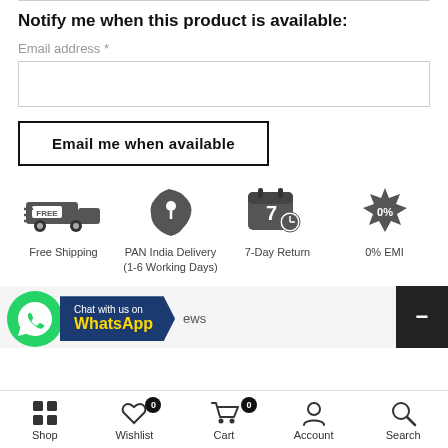Notify me when this product is available:
Email address *
Email me when available
[Figure (infographic): Four shipping/service icons: Free Shipping (delivery truck with FREE label), PAN India Delivery 1-6 Working Days (India map with pin), 7-Day Return (calendar with clock), 0% EMI (badge)]
[Figure (infographic): WhatsApp chat widget with green WhatsApp icon and navy blue banner saying 'Chat with us on WhatsApp', partial 'ews' text visible, dark minus button on right]
Shop | Wishlist 0 | Cart 0 | Account | Search